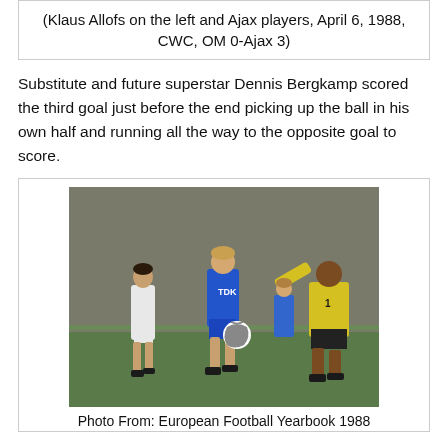(Klaus Allofs on the left and Ajax players, April 6, 1988, CWC, OM 0-Ajax 3)
Substitute and future superstar Dennis Bergkamp scored the third goal just before the end picking up the ball in his own half and running all the way to the opposite goal to score.
[Figure (photo): Black and white photograph of a football match showing players on a pitch; a player in a blue TDK-sponsored Ajax kit in the center, a goalkeeper in yellow on the right, and a player in white on the left.]
Photo From: European Football Yearbook 1988